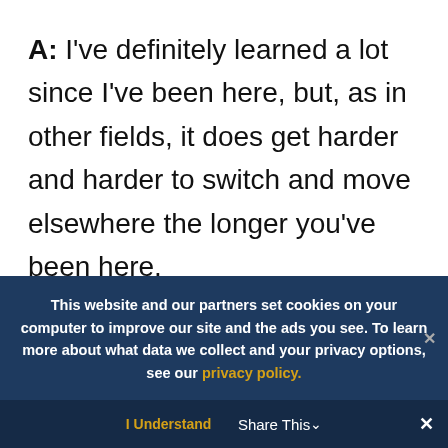A: I've definitely learned a lot since I've been here, but, as in other fields, it does get harder and harder to switch and move elsewhere the longer you've been here.

The best part about this job is that you run into a lot of colorful characters – in a good way – in many emerging markets. The CEOs and CFOs of many emerging market airlines are
This website and our partners set cookies on your computer to improve our site and the ads you see. To learn more about what data we collect and your privacy options, see our privacy policy.
I Understand   Share This ∨   ✕